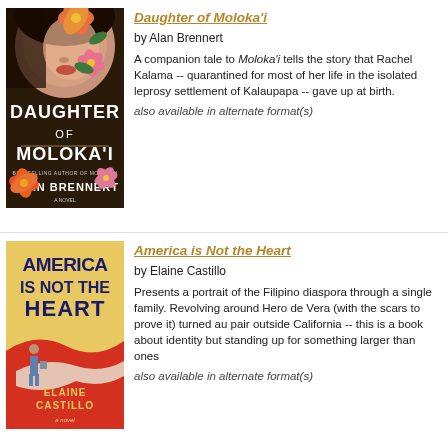[Figure (illustration): Book cover of 'Daughter of Moloka'i' by Alan Brennert, featuring a woman's face with hibiscus flowers on a dark background]
Daughter of Moloka'i
by Alan Brennert
A companion tale to Moloka'i tells the story that Rachel Kalama -- quarantined for most of her life in the isolated leprosy settlement of Kalaupapa -- gave up at birth.
also available in alternate format(s)
[Figure (illustration): Book cover of 'America is Not the Heart' by Elaine Castillo, featuring bold text on a red and yellow background with a figure walking]
America is Not the Heart
by Elaine Castillo
Presents a portrait of the Filipino diaspora through a single family. Revolving around Hero de Vera (with the scars to prove it) turned au pair outside California -- this is a book about identity but standing up for something larger than ones self.
also available in alternate format(s)